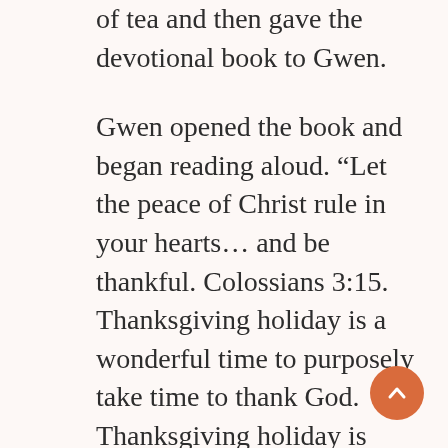of tea and then gave the devotional book to Gwen.
Gwen opened the book and began reading aloud. “Let the peace of Christ rule in your hearts… and be thankful. Colossians 3:15. Thanksgiving holiday is a wonderful time to purposely take time to thank God. Thanksgiving holiday is usually a relaxing, pleasant day of feasting with family and friends and remembering God’s blessings. It can be that way every day. Even a day of fasting alone can be a relaxing, pleasant day dwelling in the presence of God. Remember the psalmist wrote, ‘Enter into his gates with thanksgiving, and